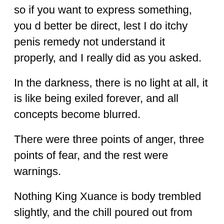so if you want to express something, you d better be direct, lest I do itchy penis remedy not understand it properly, and I really did as you asked.
In the darkness, there is no light at all, it is like being exiled forever, and all concepts become blurred.
There were three points of anger, three points of fear, and the rest were warnings.
Nothing King Xuance is body trembled slightly, and the chill poured out from the bottom of his heart and gradually spread to his whole body.
In my opinion, this has nothing to do with being ruthless or not, it is just a very fair thing.
The peach girl drug sex tube Extenze Review shook her head, but she did not want to say more.Lian Yi sighed, Forget it, drug